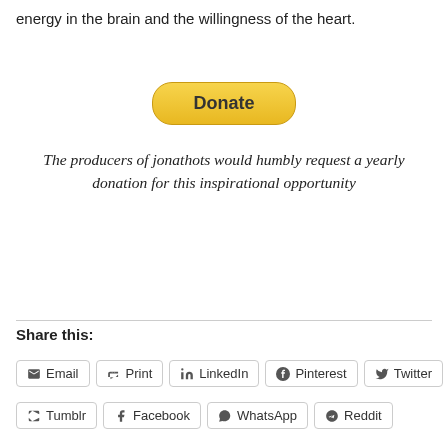energy in the brain and the willingness of the heart.
[Figure (other): PayPal Donate button with yellow/gold gradient rounded rectangle]
The producers of jonathots would humbly request a yearly donation for this inspirational opportunity
Share this:
Email
Print
LinkedIn
Pinterest
Twitter
Tumblr
Facebook
WhatsApp
Reddit